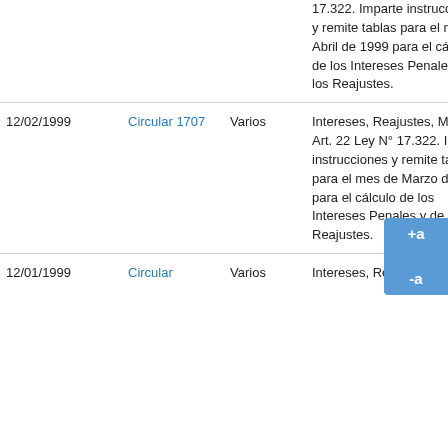| Fecha | Tipo | Tema | Descripción |
| --- | --- | --- | --- |
|  |  |  | 17.322. Imparte instrucciones y remite tablas para el mes de Abril de 1999 para el cálculo de los Intereses Penales y de los Reajustes. |
| 12/02/1999 | Circular 1707 | Varios | Intereses, Reajustes, Multas Art. 22 Ley N° 17.322. Imparte instrucciones y remite tablas para el mes de Marzo de 1999 para el cálculo de los Intereses Penales y de los Reajustes. |
| 12/01/1999 | Circular | Varios | Intereses, Reajustes |